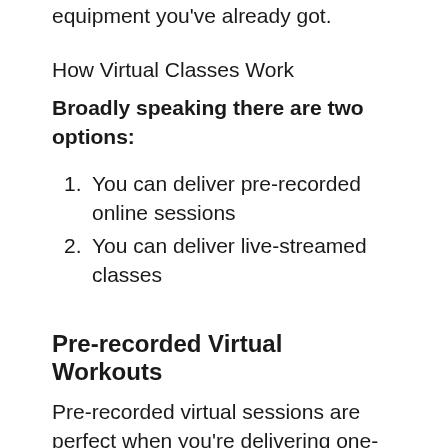equipment you've already got.
How Virtual Classes Work
Broadly speaking there are two options:
You can deliver pre-recorded online sessions
You can deliver live-streamed classes
Pre-recorded Virtual Workouts
Pre-recorded virtual sessions are perfect when you're delivering one-